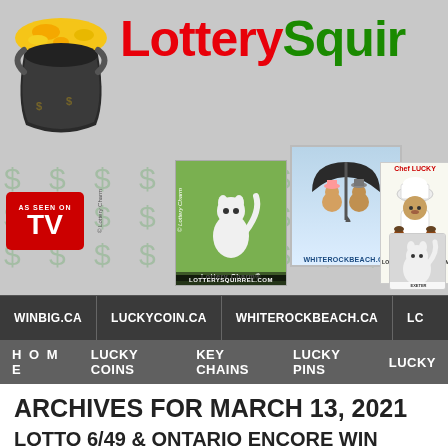[Figure (logo): LotterySquirrel website header banner with pot of gold logo, squirrel product images, AS SEEN ON TV badge, and dollar signs background]
WINBIG.CA | LUCKYCOIN.CA | WHITEROCKBEACH.CA | LC...
H O M E | LUCKY COINS | KEY CHAINS | LUCKY PINS | LUCKY
ARCHIVES FOR MARCH 13, 2021
LOTTO 6/49 & ONTARIO ENCORE WIN SATURDAY 13/03/2021
MARCH 13, 2021 BY BIG WALLACE | LOTTERY CHARM® CREATOR